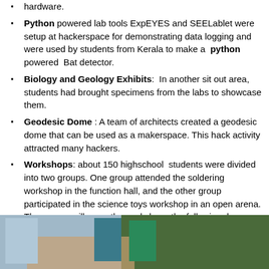hardware.
Python powered lab tools ExpEYES and SEELablet were setup at hackerspace for demonstrating data logging and were used by students from Kerala to make a python powered Bat detector.
Biology and Geology Exhibits: In another sit out area, students had brought specimens from the labs to showcase them.
Geodesic Dome : A team of architects created a geodesic dome that can be used as a makerspace. This hack activity attracted many hackers.
Workshops: about 150 highschool students were divided into two groups. One group attended the soldering workshop in the function hall, and the other group participated in the science toys workshop in an open arena. The groups will swap the workshops the following day.
[Figure (photo): Outdoor photo showing a group of people including students and instructors gathered in an open area with trees in the background, appearing to be at an outdoor workshop or event.]